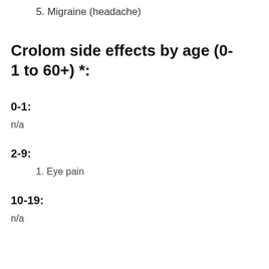5. Migraine (headache)
Crolom side effects by age (0-1 to 60+) *:
0-1:
n/a
2-9:
1. Eye pain
10-19:
n/a